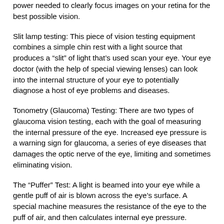power needed to clearly focus images on your retina for the best possible vision.
Slit lamp testing: This piece of vision testing equipment combines a simple chin rest with a light source that produces a “slit” of light that’s used scan your eye. Your eye doctor (with the help of special viewing lenses) can look into the internal structure of your eye to potentially diagnose a host of eye problems and diseases.
Tonometry (Glaucoma) Testing: There are two types of glaucoma vision testing, each with the goal of measuring the internal pressure of the eye. Increased eye pressure is a warning sign for glaucoma, a series of eye diseases that damages the optic nerve of the eye, limiting and sometimes eliminating vision.
The “Puffer” Test: A light is beamed into your eye while a gentle puff of air is blown across the eye’s surface. A special machine measures the resistance of the eye to the puff of air, and then calculates internal eye pressure.
The Touch Test: Using a machine called an applanation tonometer, a special probe makes gentle contact with the eye’s surface to measure internal eye pressure. Your eye doctor may numb your eye in advance.